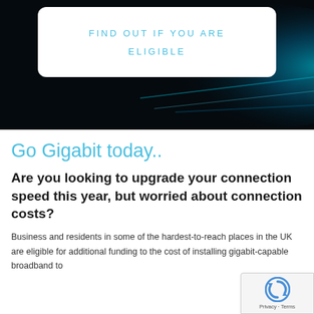[Figure (illustration): Hero banner with dark black background and teal/blue light streak glow effect on the right side, with a white rounded card in the center top area]
FIND OUT IF YOU ARE ELIGIBLE
Go Gigabit today..
Are you looking to upgrade your connection speed this year, but worried about connection costs?
Business and residents in some of the hardest-to-reach places in the UK are eligible for additional funding to the cost of installing gigabit-capable broadband to